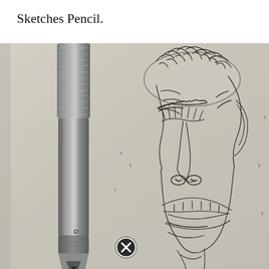Sketches Pencil.
[Figure (photo): Close-up photo of a Graphgear mechanical pencil lying on a sketchbook page next to a detailed pencil sketch of a face/monster with textured hair, nose, and open mouth, drawn on off-white textured paper.]